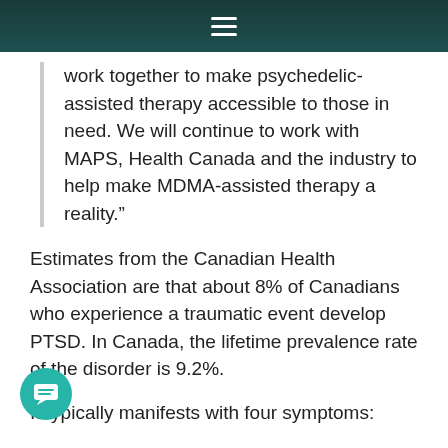Navigation menu bar
work together to make psychedelic-assisted therapy accessible to those in need. We will continue to work with MAPS, Health Canada and the industry to help make MDMA-assisted therapy a reality.”
Estimates from the Canadian Health Association are that about 8% of Canadians who experience a traumatic event develop PTSD. In Canada, the lifetime prevalence rate of the disorder is 9.2%.
It typically manifests with four symptoms:
Intrusions, including continually re-experiencing the event